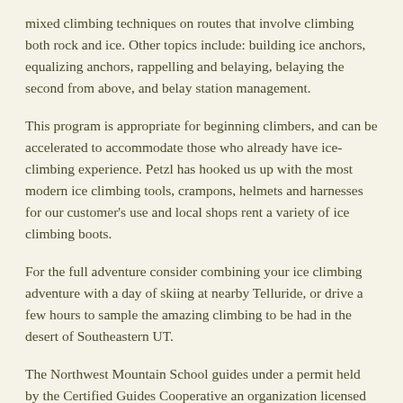mixed climbing techniques on routes that involve climbing both rock and ice. Other topics include: building ice anchors, equalizing anchors, rappelling and belaying, belaying the second from above, and belay station management.
This program is appropriate for beginning climbers, and can be accelerated to accommodate those who already have ice-climbing experience. Petzl has hooked us up with the most modern ice climbing tools, crampons, helmets and harnesses for our customer's use and local shops rent a variety of ice climbing boots.
For the full adventure consider combining your ice climbing adventure with a day of skiing at nearby Telluride, or drive a few hours to sample the amazing climbing to be had in the desert of Southeastern UT.
The Northwest Mountain School guides under a permit held by the Certified Guides Cooperative an organization licensed to guide in the Ouray Ice Park. John & Olivia Race are CGC members.